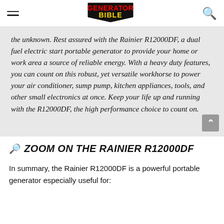Generator Bible (logo/navigation header)
the unknown. Rest assured with the Rainier R12000DF, a dual fuel electric start portable generator to provide your home or work area a source of reliable energy. With a heavy duty features, you can count on this robust, yet versatile workhorse to power your air conditioner, sump pump, kitchen appliances, tools, and other small electronics at once. Keep your life up and running with the R12000DF, the high performance choice to count on.
🔭 ZOOM ON THE RAINIER R12000DF
In summary, the Rainier R12000DF is a powerful portable generator especially useful for: